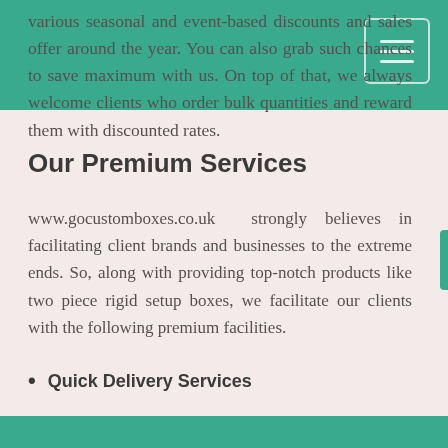various seasonal and event-based discounts and sales offer around the year. You can also grab such chances to save maximum with us. On top of that, we always welcome clients who order bulk quantities and reward them with discounted rates.
Our Premium Services
www.gocustomboxes.co.uk strongly believes in facilitating client brands and businesses to the extreme ends. So, along with providing top-notch products like two piece rigid setup boxes, we facilitate our clients with the following premium facilities.
Quick Delivery Services